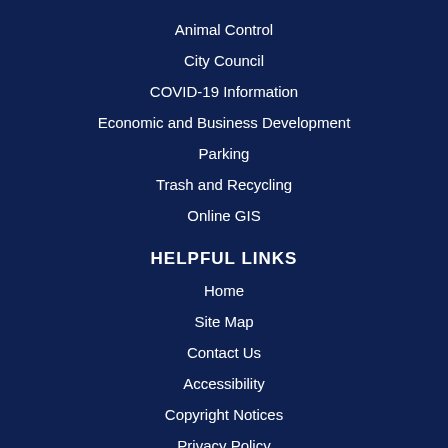Animal Control
City Council
COVID-19 Information
Economic and Business Development
Parking
Trash and Recycling
Online GIS
HELPFUL LINKS
Home
Site Map
Contact Us
Accessibility
Copyright Notices
Privacy Policy